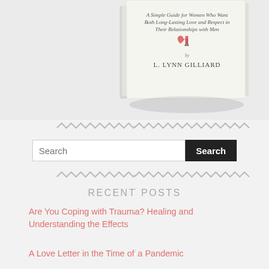[Figure (photo): Book cover image showing a book titled with subtitle 'A Simple Guide for Women Who Want Both Long-Lasting Love and Respect in Their Relationships with Men' by L. Lynn Gilliard, with a lipstick and heart illustration, displayed on a light gray background.]
[Figure (other): Decorative zigzag/wavy horizontal divider line in gray]
Search
[Figure (other): Decorative zigzag/wavy horizontal divider line in gray]
RECENT POSTS
Are You Coping with Trauma? Healing and Understanding the Effects
A Love Letter in the Time of a Pandemic